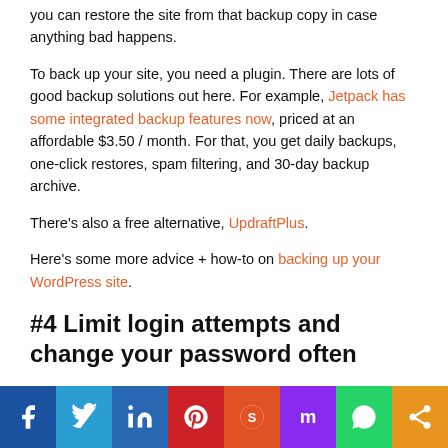you can restore the site from that backup copy in case anything bad happens.
To back up your site, you need a plugin. There are lots of good backup solutions out here. For example, Jetpack has some integrated backup features now, priced at an affordable $3.50 / month. For that, you get daily backups, one-click restores, spam filtering, and 30-day backup archive.
There's also a free alternative, UpdraftPlus.
Here's some more advice + how-to on backing up your WordPress site.
#4 Limit login attempts and change your password often
[Figure (infographic): Social sharing bar with icons: Facebook, Twitter, LinkedIn, Pinterest, Reddit, Mix, WhatsApp, Share]